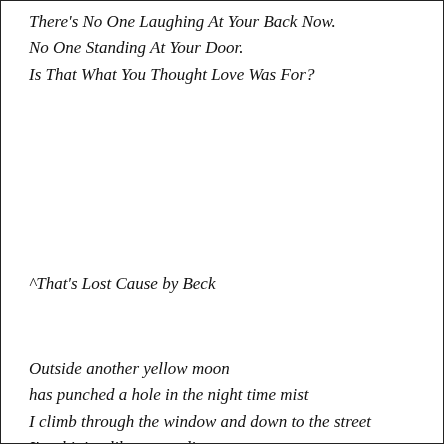There's No One Laughing At Your Back Now.
No One Standing At Your Door.
Is That What You Thought Love Was For?
^That's Lost Cause by Beck
Outside another yellow moon
has punched a hole in the night time mist
I climb through the window and down to the street
I'm shining like a new dime